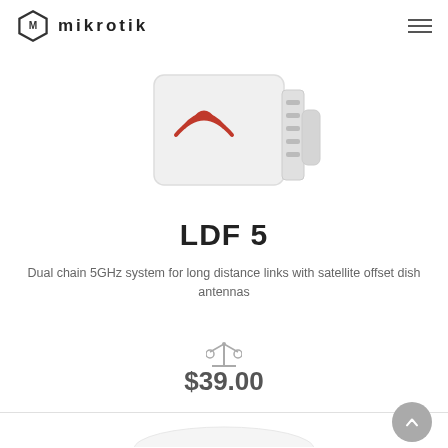MikroTik
[Figure (photo): MikroTik LDF 5 hardware device — a white rectangular unit with red wave logo and port indicators on the side]
LDF 5
Dual chain 5GHz system for long distance links with satellite offset dish antennas
[Figure (other): Compare icon (scales/balance icon in gray)]
$39.00
[Figure (photo): Partial image of next product — a white curved antenna or dish, partially visible at the bottom of the page]